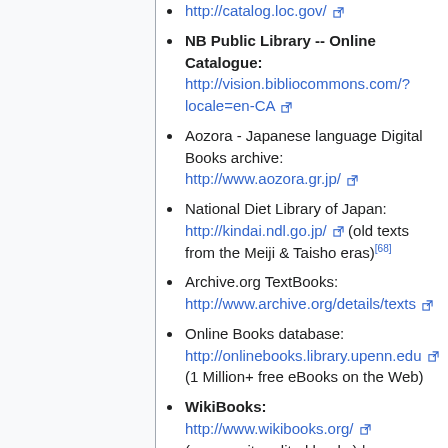http://catalog.loc.gov/
NB Public Library -- Online Catalogue: http://vision.bibliocommons.com/?locale=en-CA
Aozora - Japanese language Digital Books archive: http://www.aozora.gr.jp/
National Diet Library of Japan: http://kindai.ndl.go.jp/ (old texts from the Meiji & Taisho eras)[68]
Archive.org TextBooks: http://www.archive.org/details/texts
Online Books database: http://onlinebooks.library.upenn.edu (1 Million+ free eBooks on the Web)
WikiBooks: http://www.wikibooks.org/ (community-edited books) |